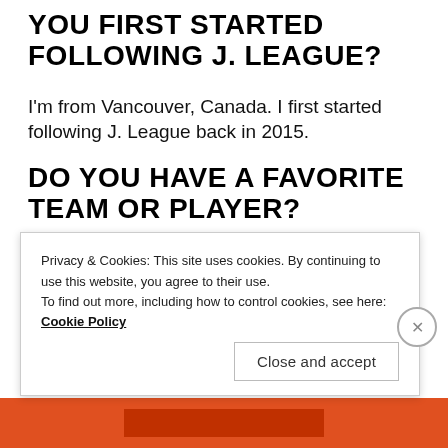YOU FIRST STARTED FOLLOWING J. LEAGUE?
I'm from Vancouver, Canada. I first started following J. League back in 2015.
DO YOU HAVE A FAVORITE TEAM OR PLAYER?
Privacy & Cookies: This site uses cookies. By continuing to use this website, you agree to their use.
To find out more, including how to control cookies, see here: Cookie Policy
Close and accept